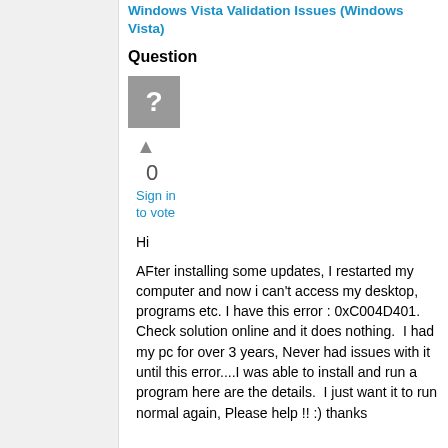Windows Vista Validation Issues (Windows Vista)
Question
[Figure (illustration): Gray square icon with a white question mark, representing an unrecognized user avatar]
▲
0
Sign in to vote
Hi

AFter installing some updates, I restarted my computer and now i can't access my desktop, programs etc. I have this error : 0xC004D401.  Check solution online and it does nothing.  I had my pc for over 3 years, Never had issues with it until this error....I was able to install and run a program here are the details.  I just want it to run normal again, Please help !! :) thanks